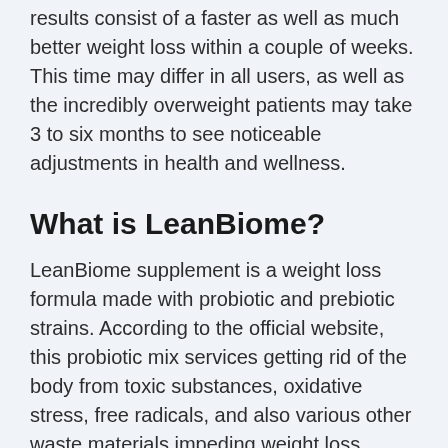results consist of a faster as well as much better weight loss within a couple of weeks. This time may differ in all users, as well as the incredibly overweight patients may take 3 to six months to see noticeable adjustments in health and wellness.
What is LeanBiome?
LeanBiome supplement is a weight loss formula made with probiotic and prebiotic strains. According to the official website, this probiotic mix services getting rid of the body from toxic substances, oxidative stress, free radicals, and also various other waste materials impeding weight loss.